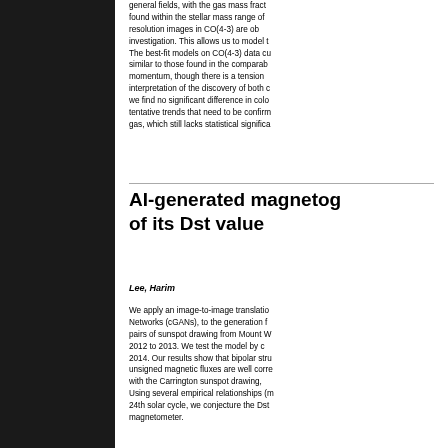general fields, with the gas mass fraction found within the stellar mass range of resolution images in CO(4-3) are obtained. investigation. This allows us to model the The best-fit models on CO(4-3) data cubes similar to those found in the comparable momentum, though there is a tension. interpretation of the discovery of both c we find no significant difference in col tentative trends that need to be confirmed gas, which still lacks statistical significance
AI-generated magnetograms and estimation of its Dst value
Lee, Harim
We apply an image-to-image translation using Conditional Generative Adversarial Networks (cGANs), to the generation from pairs of sunspot drawing from Mount Wilson 2012 to 2013. We test the model by d 2014. Our results show that bipolar structures unsigned magnetic fluxes are well correlated with the Carrington sunspot drawing, Using several empirical relationships (m 24th solar cycle, we conjecture the Dst magnetometer.